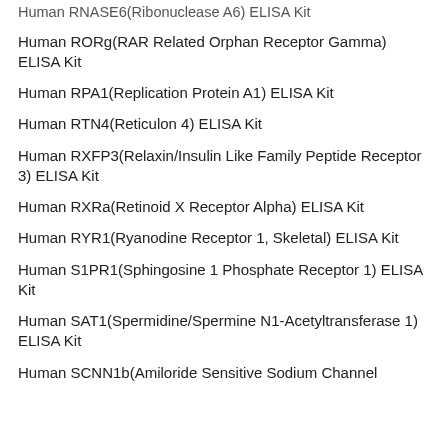Human RNASE6(Ribonuclease A6) ELISA Kit
Human RORg(RAR Related Orphan Receptor Gamma) ELISA Kit
Human RPA1(Replication Protein A1) ELISA Kit
Human RTN4(Reticulon 4) ELISA Kit
Human RXFP3(Relaxin/Insulin Like Family Peptide Receptor 3) ELISA Kit
Human RXRa(Retinoid X Receptor Alpha) ELISA Kit
Human RYR1(Ryanodine Receptor 1, Skeletal) ELISA Kit
Human S1PR1(Sphingosine 1 Phosphate Receptor 1) ELISA Kit
Human SAT1(Spermidine/Spermine N1-Acetyltransferase 1) ELISA Kit
Human SCNN1b(Amiloride Sensitive Sodium Channel